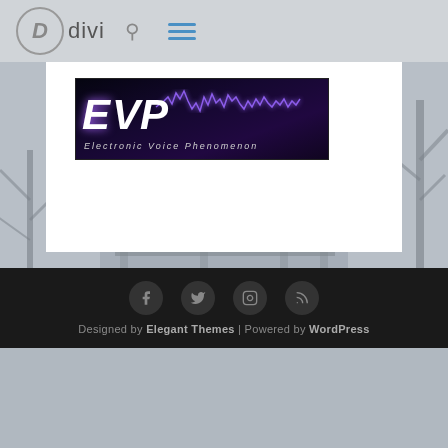Divi
[Figure (logo): EVP - Electronic Voice Phenomenon banner with purple lightning/waveform on dark background]
[Figure (photo): Greyscale photo of a Victorian haunted house with bare trees]
Designed by Elegant Themes | Powered by WordPress